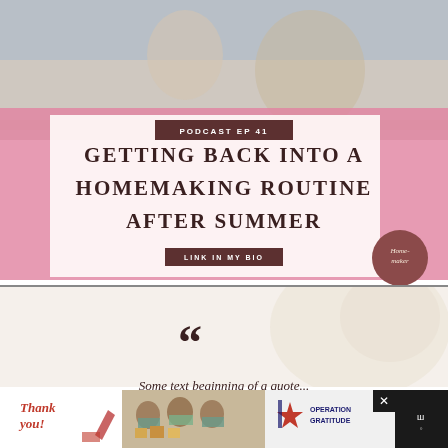[Figure (photo): Top image: mother and child at a table, used as background for podcast episode graphic. Pink overlay band with white card. Text overlay reading PODCAST EP 41 and GETTING BACK INTO A HOMEMAKING ROUTINE AFTER SUMMER and LINK IN MY BIO. Circular logo with cursive text 'Homemaker'.]
[Figure (photo): Second image: soft light background with blurred face/profile silhouette, cream/beige tones, featuring large dark quotation marks in the center.]
[Figure (photo): Bottom advertisement banner: dark background with 'Thank you!' handwritten text on white section, photo of three masked workers, Operation Gratitude logo with star icon.]